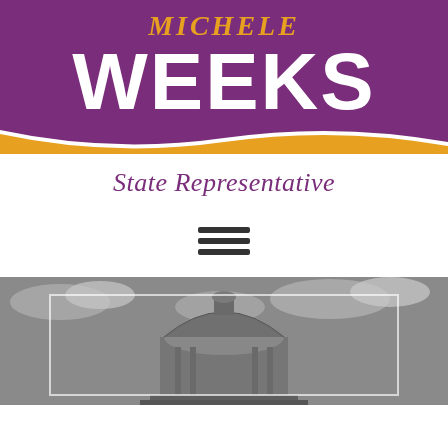[Figure (logo): Michele Weeks State Representative campaign logo with purple banner, orange 'MICHELE' text, large white 'WEEKS' text, a gold wave swoosh, and 'State Representative' in purple italic serif below.]
[Figure (other): Hamburger menu icon (three horizontal dark lines).]
[Figure (photo): Black and white photograph of a state capitol building dome with clouds in the sky. A white rectangular frame overlay is visible in the lower portion.]